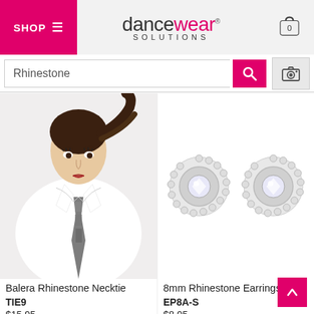SHOP dancewear SOLUTIONS
Rhinestone
[Figure (photo): Young woman wearing white sleeveless collared shirt with a glittery dark rhinestone necktie, hair pulled back in a ponytail]
Balera Rhinestone Necktie
TIE9
$15.95
[Figure (photo): Two round silver rhinestone stud earrings with crystal center stones surrounded by smaller rhinestones]
8mm Rhinestone Earrings
EP8A-S
$8.95